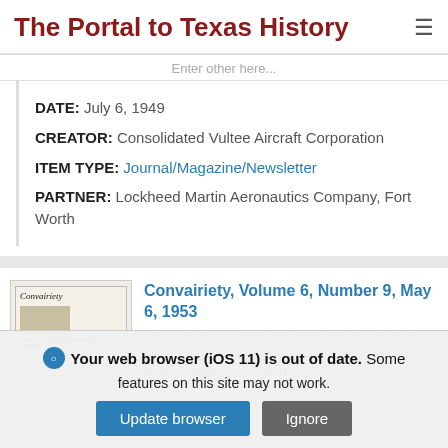The Portal to Texas History
Enter other here...
DATE: July 6, 1949
CREATOR: Consolidated Vultee Aircraft Corporation
ITEM TYPE: Journal/Magazine/Newsletter
PARTNER: Lockheed Martin Aeronautics Company, Fort Worth
[Figure (photo): Thumbnail image of Convairiety newsletter cover]
Convairiety, Volume 6, Number 9, May 6, 1953
This is the house newsletter published for employees of the Consolidated Vultee Aircraft Corporation's Fort Worth Division in Fort Worth...
Your web browser (iOS 11) is out of date. Some features on this site may not work.